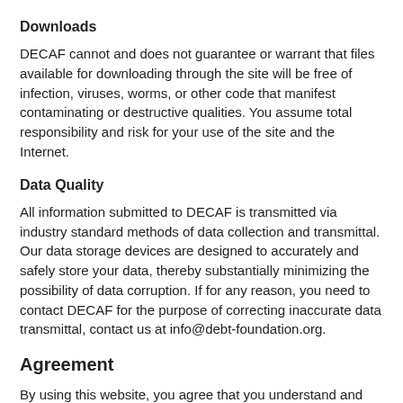Downloads
DECAF cannot and does not guarantee or warrant that files available for downloading through the site will be free of infection, viruses, worms, or other code that manifest contaminating or destructive qualities. You assume total responsibility and risk for your use of the site and the Internet.
Data Quality
All information submitted to DECAF is transmitted via industry standard methods of data collection and transmittal. Our data storage devices are designed to accurately and safely store your data, thereby substantially minimizing the possibility of data corruption. If for any reason, you need to contact DECAF for the purpose of correcting inaccurate data transmittal, contact us at info@debt-foundation.org.
Agreement
By using this website, you agree that you understand and accept our Disclosures and Policies. You authorize DECAF to the use of the information we receive and collect as stated herein and in ways we may notify you of in the future. By providing any personal information